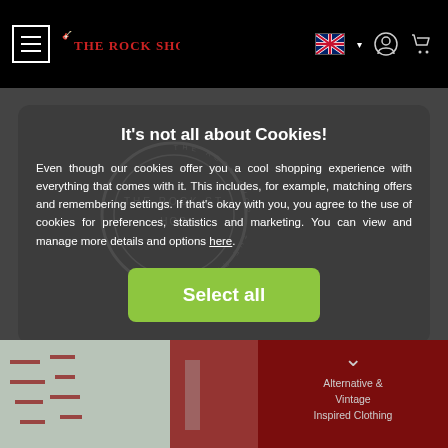THE ROCK SHOP
It's not all about Cookies!
Even though our cookies offer you a cool shopping experience with everything that comes with it. This includes, for example, matching offers and remembering settings. If that's okay with you, you agree to the use of cookies for preferences, statistics and marketing. You can view and manage more details and options here.
Select all
Alternative & Vintage Inspired Clothing